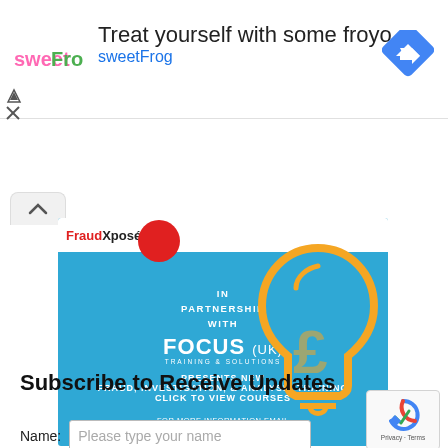[Figure (other): SweetFrog frozen yogurt advertisement banner with logo, text 'Treat yourself with some froyo sweetFrog', and a Google Maps navigation icon]
[Figure (other): FraudXpose advertisement banner in blue with red circle logo, text: 'FraudXposé IN PARTNERSHIP WITH FOCUS (UK) TRAINING & SOLUTIONS PRESENTS NEW FRAUD, INVESTIGATION, & ANALYSIS TRAINING CLICK TO VIEW COURSES FOR MORE INFORMATION EMAIL INFO@FRAUDXPOSE.COM', with an orange lightbulb graphic]
Subscribe to Receive Updates
Name: Please type your name
[Figure (other): Google reCAPTCHA widget showing circular arrow icon with text 'Privacy - Terms']